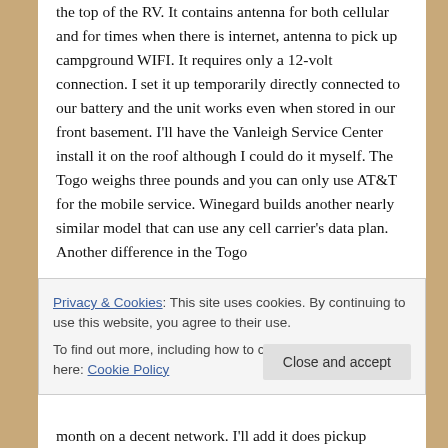the top of the RV. It contains antenna for both cellular and for times when there is internet, antenna to pick up campground WIFI. It requires only a 12-volt connection. I set it up temporarily directly connected to our battery and the unit works even when stored in our front basement. I'll have the Vanleigh Service Center install it on the roof although I could do it myself. The Togo weighs three pounds and you can only use AT&T for the mobile service. Winegard builds another nearly similar model that can use any cell carrier's data plan. Another difference in the Togo
Privacy & Cookies: This site uses cookies. By continuing to use this website, you agree to their use.
To find out more, including how to control cookies, see here: Cookie Policy
Close and accept
month on a decent network. I'll add it does pickup